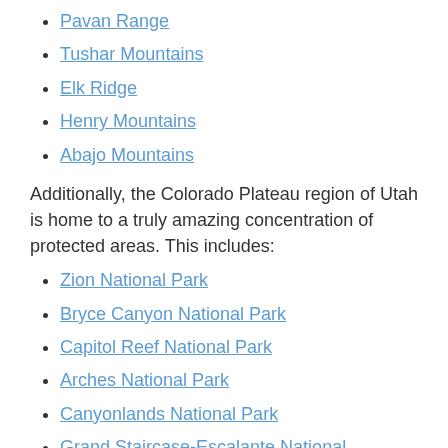Pavan Range
Tushar Mountains
Elk Ridge
Henry Mountains
Abajo Mountains
Additionally, the Colorado Plateau region of Utah is home to a truly amazing concentration of protected areas. This includes:
Zion National Park
Bryce Canyon National Park
Capitol Reef National Park
Arches National Park
Canyonlands National Park
Grand Staircase-Escalante National Monument
Bears Ears National Monument
Manti-La Sal National Forest